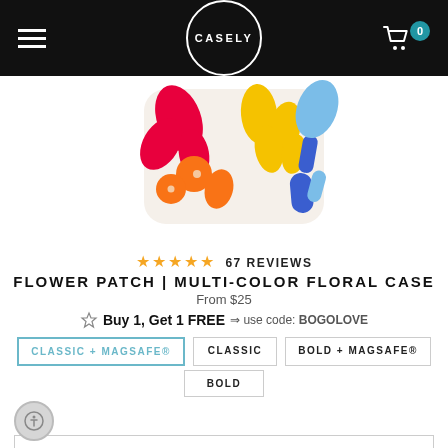CASELY
[Figure (photo): A colorful floral phone case with red, orange, yellow, and blue flower patterns on a white background, shown at an angle.]
★★★★★ 67 REVIEWS
FLOWER PATCH | MULTI-COLOR FLORAL CASE
From $25
Buy 1, Get 1 FREE ⇒ use code: BOGOLOVE
CLASSIC + MAGSAFE®
CLASSIC
BOLD + MAGSAFE®
BOLD
Select a Device